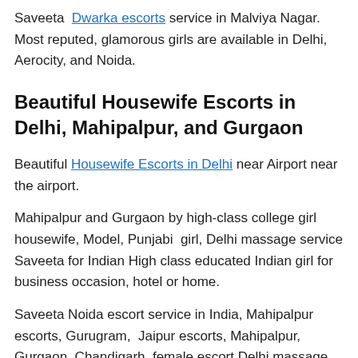Saveeta Dwarka escorts service in Malviya Nagar. Most reputed, glamorous girls are available in Delhi, Aerocity, and Noida.
Beautiful Housewife Escorts in Delhi, Mahipalpur, and Gurgaon
Beautiful Housewife Escorts in Delhi near Airport near the airport.
Mahipalpur and Gurgaon by high-class college girl housewife, Model, Punjabi girl, Delhi massage service Saveeta for Indian High class educated Indian girl for business occasion, hotel or home.
Saveeta Noida escort service in India, Mahipalpur escorts, Gurugram, Jaipur escorts, Mahipalpur, Gurgaon, Chandigarh, female escort Delhi massage services in